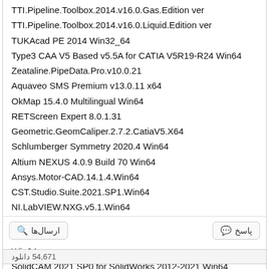TTI.Pipeline.Toolbox.2014.v16.0.Gas.Edition ver
TTI.Pipeline.Toolbox.2014.v16.0.Liquid.Edition ver
TUKAcad PE 2014 Win32_64
Type3 CAA V5 Based v5.5A for CATIA V5R19-R24 Win64
Zeataline.PipeData.Pro.v10.0.21
Aquaveo SMS Premium v13.0.11 x64
OkMap 15.4.0 Multilingual Win64
RETScreen Expert 8.0.1.31
Geometric.GeomCaliper.2.7.2.CatiaV5.X64
Schlumberger Symmetry 2020.4 Win64
Altium NEXUS 4.0.9 Build 70 Win64
Ansys.Motor-CAD.14.1.4.Win64
CST.Studio.Suite.2021.SP1.Win64
NI.LabVIEW.NXG.v5.1.Win64
Dlubal.PLATE-BUCKLING.v8.24.02.157532.Win64
InventorCAM 2021 SP0 for Atodesk Inventor 2018-2021 Win64
SolidCAM 2021 SP0 for SolidWorks 2012-2021 Win64
54,671 دانلود